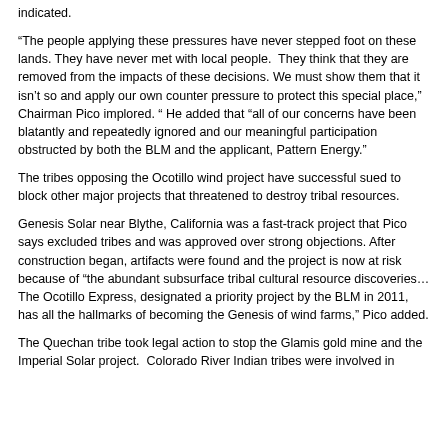indicated.
“The people applying these pressures have never stepped foot on these lands. They have never met with local people.  They think that they are removed from the impacts of these decisions. We must show them that it isn’t so and apply our own counter pressure to protect this special place,” Chairman Pico implored. “ He added that “all of our concerns have been blatantly and repeatedly ignored and our meaningful participation obstructed by both the BLM and the applicant, Pattern Energy.”
The tribes opposing the Ocotillo wind project have successful sued to block other major projects that threatened to destroy tribal resources.
Genesis Solar near Blythe, California was a fast-track project that Pico says excluded tribes and was approved over strong objections. After construction began, artifacts were found and the project is now at risk because of “the abundant subsurface tribal cultural resource discoveries…The Ocotillo Express, designated a priority project by the BLM in 2011, has all the hallmarks of becoming the Genesis of wind farms,” Pico added.
The Quechan tribe took legal action to stop the Glamis gold mine and the Imperial Solar project.  Colorado River Indian tribes were involved in